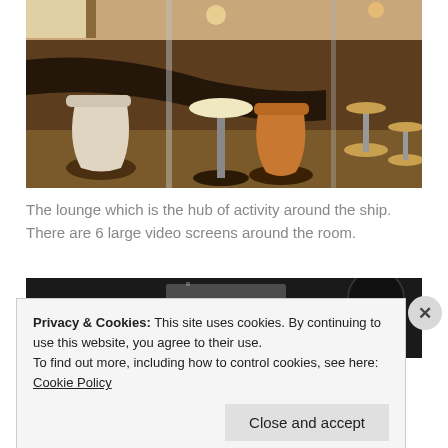[Figure (photo): Interior of a ship lounge with orange/tan chairs and small round tables on pedestal bases, long bar counter, warm brown tones, multiple seats visible along a corridor.]
The lounge which is the hub of activity around the ship. There are 6 large video screens around the room.
[Figure (photo): Partially visible dark interior photo, mostly obscured by cookie consent banner.]
Privacy & Cookies: This site uses cookies. By continuing to use this website, you agree to their use.
To find out more, including how to control cookies, see here: Cookie Policy